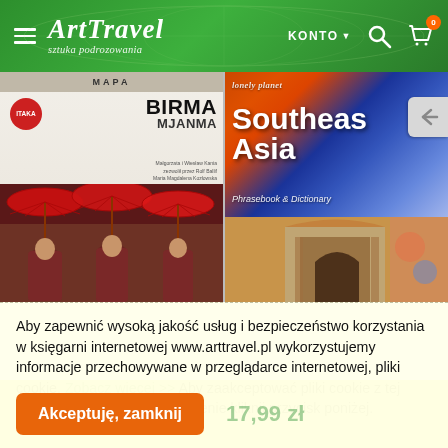ArtTravel sztuka podrozowania — KONTO
[Figure (photo): Two book covers side by side: left is 'Birma Mjanma' travel guide by Pascal with photo of monks holding red umbrellas; right is Lonely Planet 'Southeast Asia Phrasebook & Dictionary' with colorful cover]
Aby zapewnić wysoką jakość usług i bezpieczeństwo korzystania w księgarni internetowej www.arttravel.pl wykorzystujemy informacje przechowywane w przeglądarce internetowej, pliki cookie. Zobacz więcej >> Aby zaakceptować pliki cookie z tej witryny i zamknąć powiadomienie kliknij przycisk poniżej.
Akceptuję, zamknij